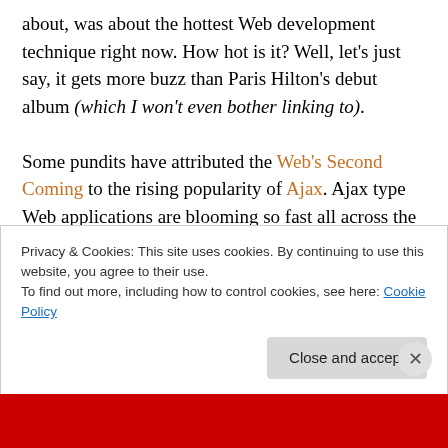about, was about the hottest Web development technique right now. How hot is it? Well, let's just say, it gets more buzz than Paris Hilton's debut album (which I won't even bother linking to).

Some pundits have attributed the Web's Second Coming to the rising popularity of Ajax. Ajax type Web applications are blooming so fast all across the Internet that it has become far easier to sit through another moth-eaten episode of 'Fear Factor'( do I really need to know another recipe for a milkshake?) than trying to keep up with the
Privacy & Cookies: This site uses cookies. By continuing to use this website, you agree to their use.
To find out more, including how to control cookies, see here: Cookie Policy